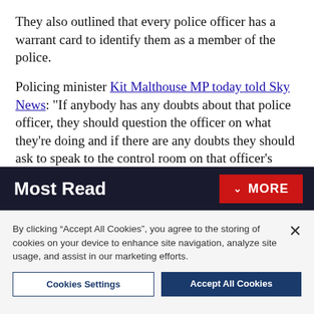They also outlined that every police officer has a warrant card to identify them as a member of the police.
Policing minister Kit Malthouse MP today told Sky News: "If anybody has any doubts about that police officer, they should question the officer on what they're doing and if there are any doubts they should ask to speak to the control room on that officer's radio or call 999. That is the devastating consequence of this awful man's actions."
Most Read
By clicking “Accept All Cookies”, you agree to the storing of cookies on your device to enhance site navigation, analyze site usage, and assist in our marketing efforts.